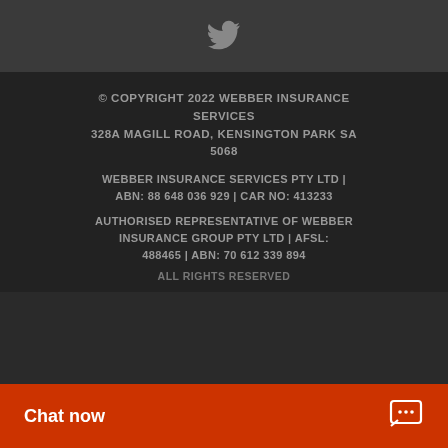[Figure (logo): Twitter bird icon in grey on dark grey bar]
© COPYRIGHT 2022 WEBBER INSURANCE SERVICES
328A MAGILL ROAD, KENSINGTON PARK SA 5068
WEBBER INSURANCE SERVICES PTY LTD | ABN: 88 648 036 929 | CAR NO: 413233
AUTHORISED REPRESENTATIVE OF WEBBER INSURANCE GROUP PTY LTD | AFSL: 488465 | ABN: 70 612 339 894
ALL RIGHTS RESERVED
Chat now